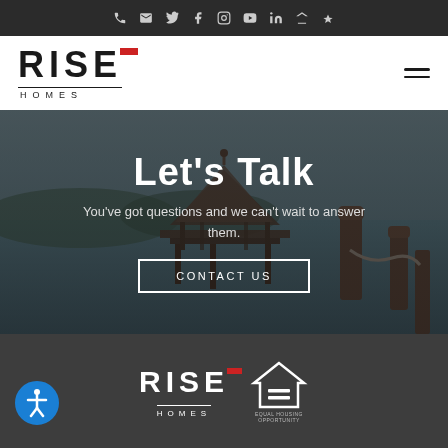Social/contact icon bar (phone, email, Twitter, Facebook, Instagram, YouTube, LinkedIn, Zillow, Yelp)
[Figure (logo): RISE HOMES logo with red accent bar above the E, black text on white background]
Let's Talk
You've got questions and we can't wait to answer them.
CONTACT US
[Figure (photo): Lake/waterfront scene with a wooden gazebo/dock and decorative bollards with chains, dark overlay]
[Figure (logo): RISE HOMES logo in white on dark footer background]
[Figure (logo): Equal Housing Opportunity logo in white]